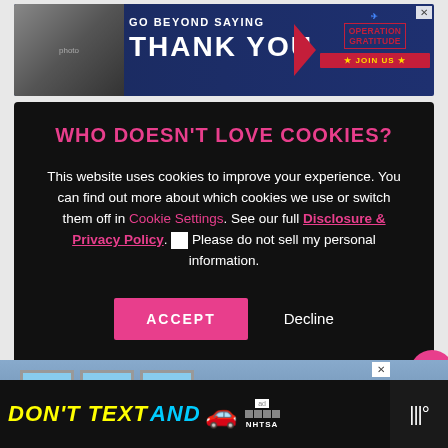[Figure (screenshot): Operation Gratitude banner ad: 'Go beyond saying Thank You' with military personnel photo and 'Join Us' button]
[Figure (screenshot): Cookie consent modal on dark background with title 'WHO DOESN'T LOVE COOKIES?', body text about cookie settings, Disclosure & Privacy Policy link, checkbox, Accept and Decline buttons]
[Figure (screenshot): Bottom banner ad: 'Don't Text AND' (NHTSA road safety ad) with car emoji]
[Figure (photo): Building exterior with brick facade and blue windows]